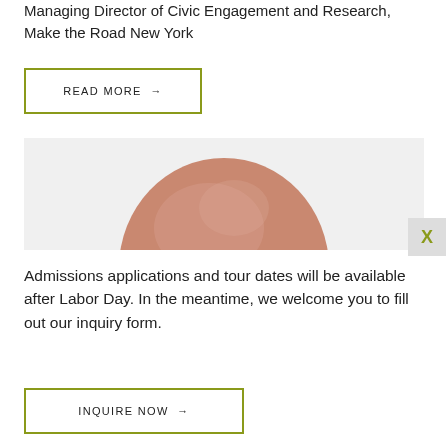Managing Director of Civic Engagement and Research, Make the Road New York
READ MORE →
[Figure (photo): Top of a bald man's head against a light gray background]
X
Admissions applications and tour dates will be available after Labor Day. In the meantime, we welcome you to fill out our inquiry form.
INQUIRE NOW →